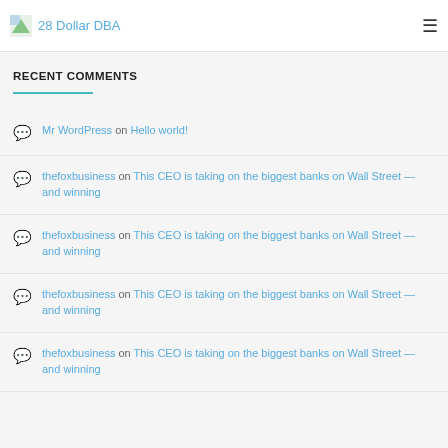28 Dollar DBA
RECENT COMMENTS
Mr WordPress on Hello world!
thefoxbusiness on This CEO is taking on the biggest banks on Wall Street — and winning
thefoxbusiness on This CEO is taking on the biggest banks on Wall Street — and winning
thefoxbusiness on This CEO is taking on the biggest banks on Wall Street — and winning
thefoxbusiness on This CEO is taking on the biggest banks on Wall Street — and winning